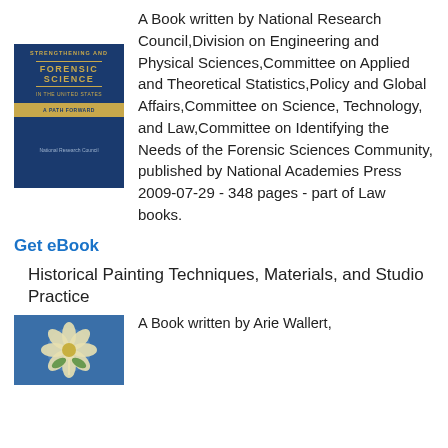[Figure (illustration): Book cover of 'Strengthening Forensic Science in the United States' — dark blue cover with gold title text and gold decorative band]
A Book written by National Research Council,Division on Engineering and Physical Sciences,Committee on Applied and Theoretical Statistics,Policy and Global Affairs,Committee on Science, Technology, and Law,Committee on Identifying the Needs of the Forensic Sciences Community, published by National Academies Press 2009-07-29 - 348 pages - part of Law books.
Get eBook
Historical Painting Techniques, Materials, and Studio Practice
A Book written by Arie Wallert,
[Figure (illustration): Book cover of 'Historical Painting Techniques, Materials, and Studio Practice' — blue cover with a floral/plant illustration]